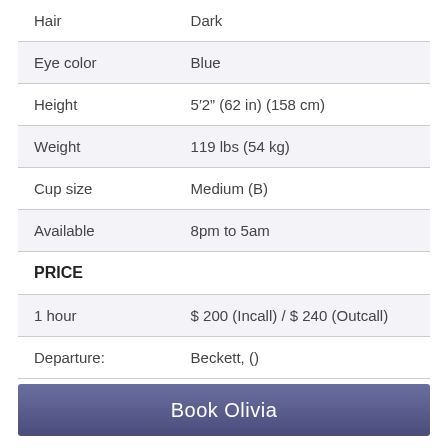| Attribute | Value |
| --- | --- |
| Hair | Dark |
| Eye color | Blue |
| Height | 5′2” (62 in) (158 cm) |
| Weight | 119 lbs (54 kg) |
| Cup size | Medium (B) |
| Available | 8pm to 5am |
| PRICE |  |
| 1 hour | $ 200 (Incall) / $ 240 (Outcall) |
| Departure: | Beckett, () |
Book Olivia